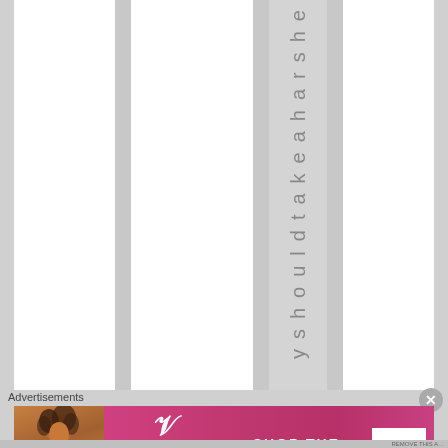[Figure (other): Web page screenshot showing vertical striped layout with a column containing rotated/vertical text reading 'y s h o u l d t a k e a h a r s h e' and a Victoria's Secret advertisement banner at the bottom with 'SHOP THE COLLECTION' and 'SHOP NOW' button]
Advertisements